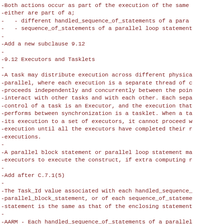-Both actions occur as part of the execution of the same
-either are part of a;
-   - different handled_sequence_of_statements of a para
-   - sequence_of_statements of a parallel loop statement
-
-Add a new subclause 9.12
-
-9.12 Executors and Tasklets
-
-A task may distribute execution across different physica
-parallel, where each execution is a separate thread of c
-proceeds independently and concurrently between the poin
-interact with other tasks and with each other. Each sepa
-control of a task is an Executor, and the execution that
-performs between synchronization is a tasklet. When a ta
-its execution to a set of executors, it cannot proceed w
-execution until all the executors have completed their r
-executions.
-
-A parallel block statement or parallel loop statement ma
-executors to execute the construct, if extra computing r
-
-Add after C.7.1(5)
-
-The Task_Id value associated with each handled_sequence_
-parallel_block_statement, or of each sequence_of_stateme
-statement is the same as that of the enclosing statement
-
-AARM - Each handled_sequence_of_statements of a parallel
-sequence_of_statements of a parallel loop are treated as